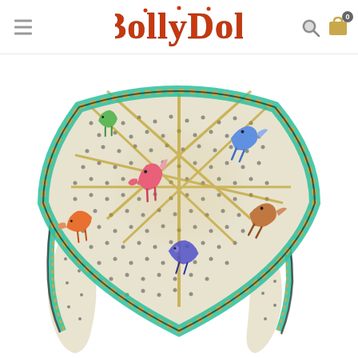BollyDoll
[Figure (photo): A decorative silk scarf folded/draped in a triangular shape. The scarf features a cream/off-white base with black polka dot pattern, teal/turquoise and gold diagonal stripe border, and colorful illustrated horse/animal motifs in pink, blue, green and orange. The center has a gold geometric diamond/lattice pattern with glitter overlay. The scarf is photographed on a white background.]